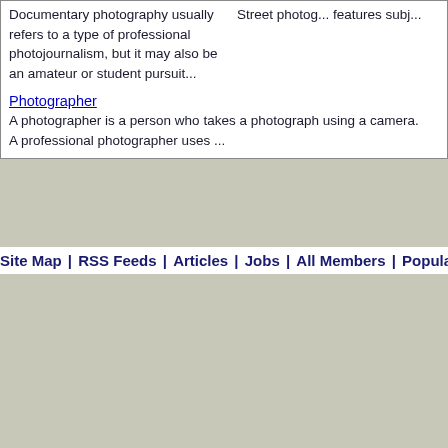Documentary photography usually refers to a type of professional photojournalism, but it may also be an amateur or student pursuit...
Street photo... features subj...
Photographer
A photographer is a person who takes a photograph using a camera. A professional photographer uses ...
Site Map | RSS Feeds | Articles | Jobs | All Members | Popular Searches | Popul...